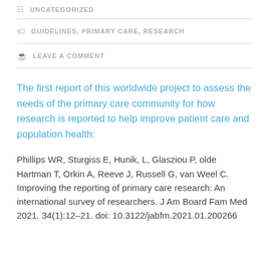UNCATEGORIZED
GUIDELINES, PRIMARY CARE, RESEARCH
LEAVE A COMMENT
The first report of this worldwide project to assess the needs of the primary care community for how research is reported to help improve patient care and population health:
Phillips WR, Sturgiss E, Hunik, L, Glasziou P, olde Hartman T, Orkin A, Reeve J, Russell G, van Weel C. Improving the reporting of primary care research: An international survey of researchers. J Am Board Fam Med 2021. 34(1):12–21. doi: 10.3122/jabfm.2021.01.200266